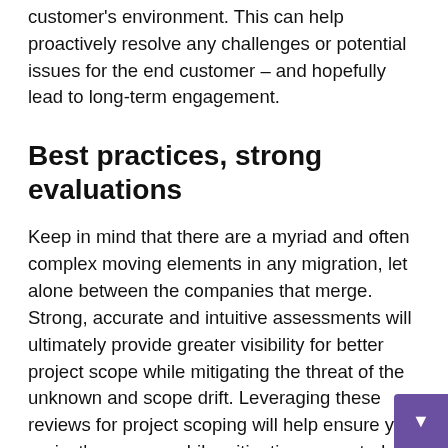customer's environment. This can help proactively resolve any challenges or potential issues for the end customer – and hopefully lead to long-term engagement.
Best practices, strong evaluations
Keep in mind that there are a myriad and often complex moving elements in any migration, let alone between the companies that merge. Strong, accurate and intuitive assessments will ultimately provide greater visibility for better project scope while mitigating the threat of the unknown and scope drift. Leveraging these reviews for project scoping will help ensure your project's success while mitigating unwanted